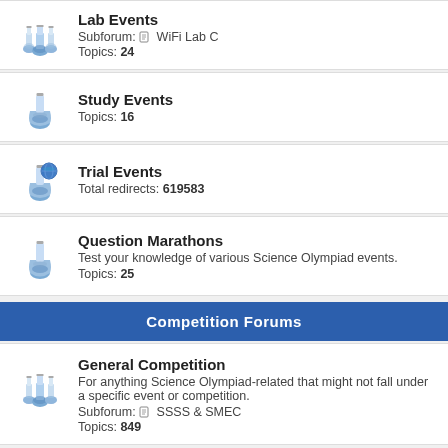Lab Events
Subforum: WiFi Lab C
Topics: 24
Study Events
Topics: 16
Trial Events
Total redirects: 619583
Question Marathons
Test your knowledge of various Science Olympiad events.
Topics: 25
Competition Forums
General Competition
For anything Science Olympiad-related that might not fall under a specific event or competition.
Subforum: SSSS & SMEC
Topics: 849